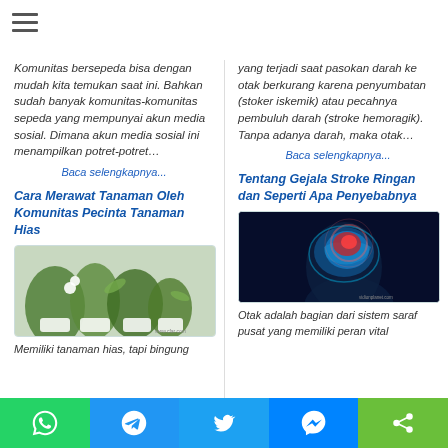[Figure (other): Hamburger menu icon (three horizontal lines)]
Komunitas bersepeda bisa dengan mudah kita temukan saat ini. Bahkan sudah banyak komunitas-komunitas sepeda yang mempunyai akun media sosial. Dimana akun media sosial ini menampilkan potret-potret…
Baca selengkapnya...
yang terjadi saat pasokan darah ke otak berkurang karena penyumbatan (stoker iskemik) atau pecahnya pembuluh darah (stroke hemoragik). Tanpa adanya darah, maka otak…
Baca selengkapnya...
Cara Merawat Tanaman Oleh Komunitas Pecinta Tanaman Hias
Tentang Gejala Stroke Ringan dan Seperti Apa Penyebabnya
[Figure (photo): Photo of potted ornamental plants / houseplants grouped together]
[Figure (photo): Medical illustration of human brain with red highlighted area showing stroke, on dark blue background]
Memiliki tanaman hias, tapi bingung
Otak adalah bagian dari sistem saraf pusat yang memiliki peran vital
[Figure (other): Bottom share bar with WhatsApp, Telegram, Twitter, Messenger, and share icons]